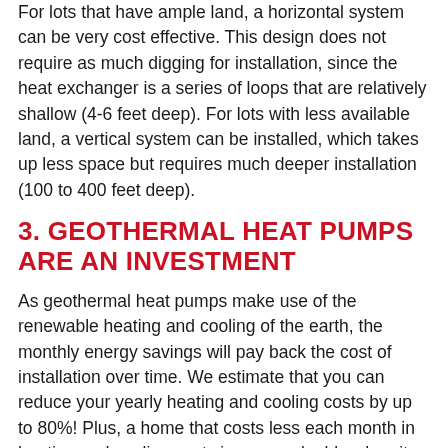For lots that have ample land, a horizontal system can be very cost effective. This design does not require as much digging for installation, since the heat exchanger is a series of loops that are relatively shallow (4-6 feet deep). For lots with less available land, a vertical system can be installed, which takes up less space but requires much deeper installation (100 to 400 feet deep).
3. GEOTHERMAL HEAT PUMPS ARE AN INVESTMENT
As geothermal heat pumps make use of the renewable heating and cooling of the earth, the monthly energy savings will pay back the cost of installation over time. We estimate that you can reduce your yearly heating and cooling costs by up to 80%! Plus, a home that costs less each month in heating and cooling costs is more valuable when it comes time to sell.